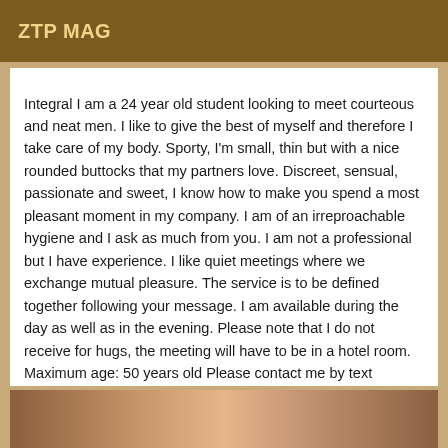ZTP MAG
Integral I am a 24 year old student looking to meet courteous and neat men. I like to give the best of myself and therefore I take care of my body. Sporty, I'm small, thin but with a nice rounded buttocks that my partners love. Discreet, sensual, passionate and sweet, I know how to make you spend a most pleasant moment in my company. I am of an irreproachable hygiene and I ask as much from you. I am not a professional but I have experience. I like quiet meetings where we exchange mutual pleasure. The service is to be defined together following your message. I am available during the day as well as in the evening. Please note that I do not receive for hugs, the meeting will have to be in a hotel room. Maximum age: 50 years old Please contact me by text message first. Two hundred and fifty for a basic naughty appointment. See you soon
[Figure (photo): Partial photo strip at bottom of page showing warm brown tones]